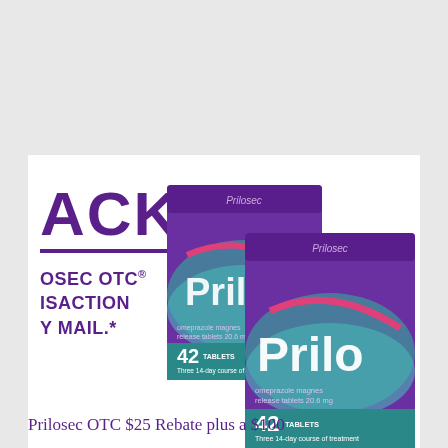[Figure (photo): Prilosec OTC advertisement image showing two purple product boxes of Prilosec OTC 42 tablets (Three 14-day course of treatment) on the right, with large purple bold text on the left showing 'ACK', a purple underline, and text 'OSEC OTC®', 'ISACTION', 'Y MAIL.*' — partial words from a cut-off headline about money back guarantee. White background with light grey outer background.]
Prilosec OTC $25 Rebate plus a $100